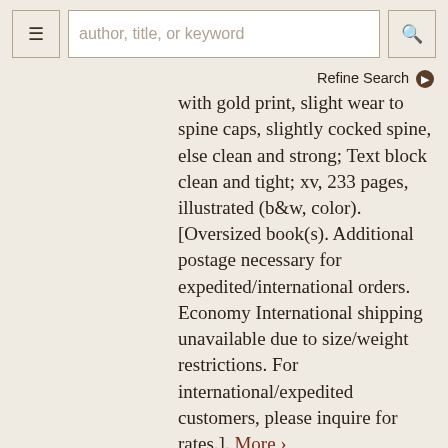author, title, or keyword
Refine Search
with gold print, slight wear to spine caps, slightly cocked spine, else clean and strong; Text block clean and tight; xv, 233 pages, illustrated (b&w, color). [Oversized book(s). Additional postage necessary for expedited/international orders. Economy International shipping unavailable due to size/weight restrictions. For international/expedited customers, please inquire for rates.]. More >
ADD TO CART
Price: $25 save 25% $18.75